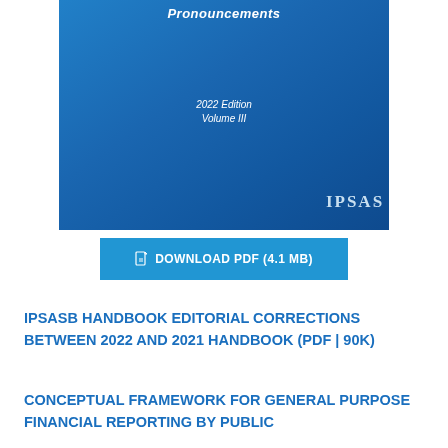[Figure (illustration): IPSAS Handbook book cover, blue gradient background, showing '2022 Edition Volume III' in white italic text and 'IPSAS' logo at bottom right. Partial title 'Pronouncements' visible at top.]
DOWNLOAD PDF (4.1 MB)
IPSASB HANDBOOK EDITORIAL CORRECTIONS BETWEEN 2022 AND 2021 HANDBOOK (PDF | 90K)
CONCEPTUAL FRAMEWORK FOR GENERAL PURPOSE FINANCIAL REPORTING BY PUBLIC